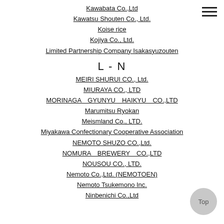Kawabata Co.,Ltd
Kawatsu Shouten Co., Ltd.
Koise rice
Kojiya Co., Ltd.
Limited Partnership Company Isakasyuzouten
L - N
MEIRI SHURUI CO., Ltd.
MIURAYA CO., LTD
MORINAGA　GYUNYU　HAIKYU　CO.,LTD
Marumitsu Ryokan
Meismland Co., LTD.
Miyakawa Confectionary Cooperative Association
NEMOTO SHUZO CO.,Ltd.
NOMURA　BREWERY　CO.,LTD
NOUSOU CO., LTD.
Nemoto Co.,Ltd. (NEMOTOEN)
Nemoto Tsukemono Inc.
Ninbenichi Co.,Ltd